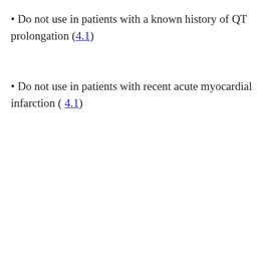Do not use in patients with a known history of QT prolongation (4.1)
Do not use in patients with recent acute myocardial infarction ( 4.1)